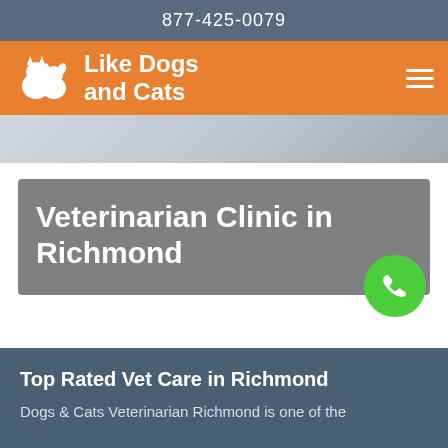877-425-0079
[Figure (logo): Like Dogs and Cats logo with white dog and cat silhouette on orange background, with hamburger menu icon on the right]
[Figure (photo): Partial view of a veterinarian in white coat]
Veterinarian Clinic in Richmond
[Figure (other): Green circular phone call button]
Top Rated Vet Care in Richmond
Dogs & Cats Veterinarian Richmond is one of the